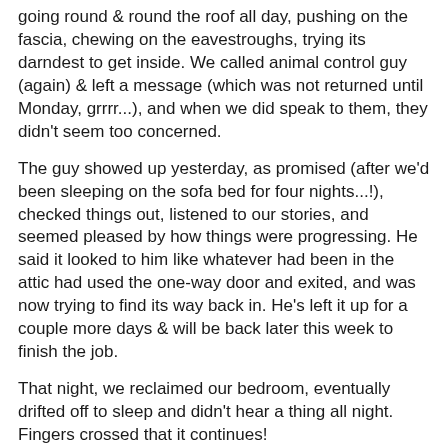going round & round the roof all day, pushing on the fascia, chewing on the eavestroughs, trying its darndest to get inside. We called animal control guy (again) & left a message (which was not returned until Monday, grrrr...), and when we did speak to them, they didn't seem too concerned.
The guy showed up yesterday, as promised (after we'd been sleeping on the sofa bed for four nights...!), checked things out, listened to our stories, and seemed pleased by how things were progressing. He said it looked to him like whatever had been in the attic had used the one-way door and exited, and was now trying to find its way back in. He's left it up for a couple more days & will be back later this week to finish the job.
That night, we reclaimed our bedroom, eventually drifted off to sleep and didn't hear a thing all night. Fingers crossed that it continues!
It occurred to me as we ran the emotional gamut this past week that I could title this post "The Five Stages of Squirrel Removal (a la Elizabeth Kubler-Ross)":